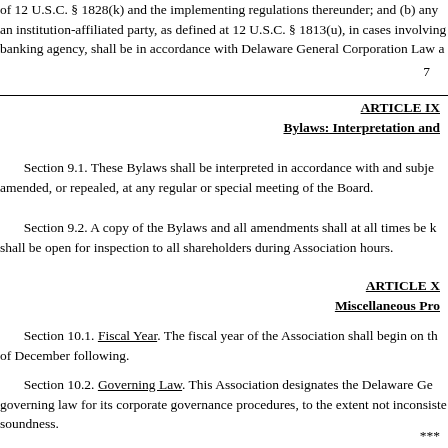of 12 U.S.C. § 1828(k) and the implementing regulations thereunder; and (b) any an institution-affiliated party, as defined at 12 U.S.C. § 1813(u), in cases involving banking agency, shall be in accordance with Delaware General Corporation Law a
7
ARTICLE IX
Bylaws: Interpretation and
Section 9.1. These Bylaws shall be interpreted in accordance with and subje amended, or repealed, at any regular or special meeting of the Board.
Section 9.2. A copy of the Bylaws and all amendments shall at all times be k shall be open for inspection to all shareholders during Association hours.
ARTICLE X
Miscellaneous Pro
Section 10.1. Fiscal Year. The fiscal year of the Association shall begin on th of December following.
Section 10.2. Governing Law. This Association designates the Delaware Ge governing law for its corporate governance procedures, to the extent not inconsiste soundness.
***